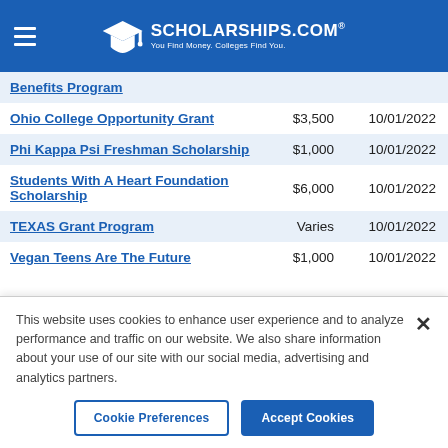SCHOLARSHIPS.COM® — You Find Money. Colleges Find You.
| Scholarship Name | Amount | Deadline |
| --- | --- | --- |
| Benefits Program |  |  |
| Ohio College Opportunity Grant | $3,500 | 10/01/2022 |
| Phi Kappa Psi Freshman Scholarship | $1,000 | 10/01/2022 |
| Students With A Heart Foundation Scholarship | $6,000 | 10/01/2022 |
| TEXAS Grant Program | Varies | 10/01/2022 |
| Vegan Teens Are The Future | $1,000 | 10/01/2022 |
This website uses cookies to enhance user experience and to analyze performance and traffic on our website. We also share information about your use of our site with our social media, advertising and analytics partners.
Cookie Preferences | Accept Cookies